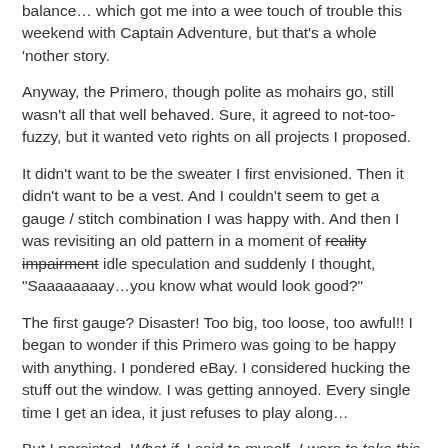balance… which got me into a wee touch of trouble this weekend with Captain Adventure, but that's a whole 'nother story.
Anyway, the Primero, though polite as mohairs go, still wasn't all that well behaved. Sure, it agreed to not-too-fuzzy, but it wanted veto rights on all projects I proposed.
It didn't want to be the sweater I first envisioned. Then it didn't want to be a vest. And I couldn't seem to get a gauge / stitch combination I was happy with. And then I was revisiting an old pattern in a moment of reality impairment idle speculation and suddenly I thought, "Saaaaaaaay…you know what would look good?"
The first gauge? Disaster! Too big, too loose, too awful!! I began to wonder if this Primero was going to be happy with anything. I pondered eBay. I considered hucking the stuff out the window. I was getting annoyed. Every single time I get an idea, it just refuses to play along…
But I persisted. What if, I said to myself. I were to take this bad boy down by a couple needle sizes…